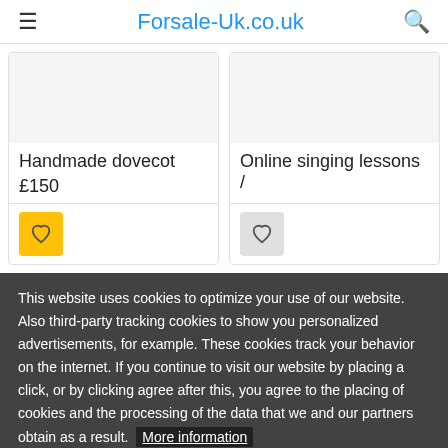Forsale-Uk.co.uk
Handmade dovecot
£150
Online singing lessons /
This website uses cookies to optimize your use of our website. Also third-party tracking cookies to show you personalized advertisements, for example. These cookies track your behavior on the internet. If you continue to visit our website by placing a click, or by clicking agree after this, you agree to the placing of cookies and the processing of the data that we and our partners obtain as a result. More information
I Understand